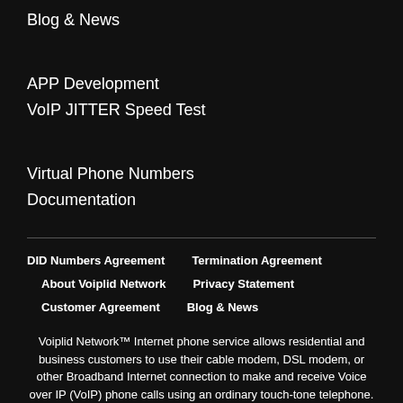Blog & News
APP Development
VoIP JITTER Speed Test
Virtual Phone Numbers
Documentation
DID Numbers Agreement
Termination Agreement
About Voiplid Network
Privacy Statement
Customer Agreement
Blog & News
Voiplid Network™ Internet phone service allows residential and business customers to use their cable modem, DSL modem, or other Broadband Internet connection to make and receive Voice over IP (VoIP) phone calls using an ordinary touch-tone telephone. Bring Your